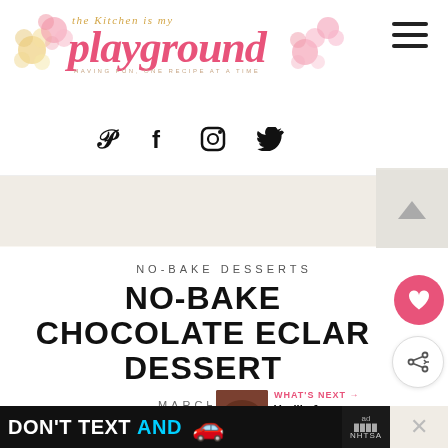the Kitchen is my playground
NO-BAKE DESSERTS
NO-BAKE CHOCOLATE ECLAIR DESSERT
MARCH 9, 2012
WHAT'S NEXT → Vanilla & Chocolate N...
With layers of graham crackers and fluffy
[Figure (other): DON'T TEXT AND [car icon] ad banner by NHTSA]